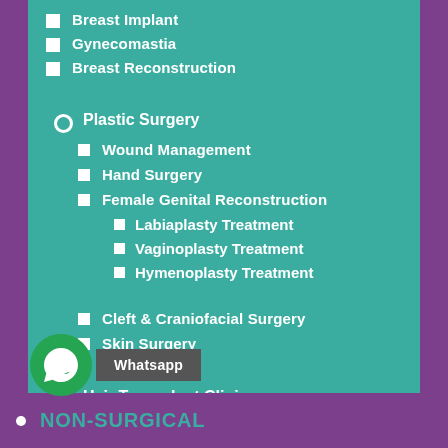Breast Implant
Gynecomastia
Breast Reconstruction
Plastic Surgery
Wound Management
Hand Surgery
Female Genital Reconstruction
Labiaplasty Treatment
Vaginoplasty Treatment
Hymenoplasty Treatment
Cleft & Craniofacial Surgery
Skin Surgery
Hair Transplant Clinic
Hair Transplantation
Weight Managment
NON-SURGICAL